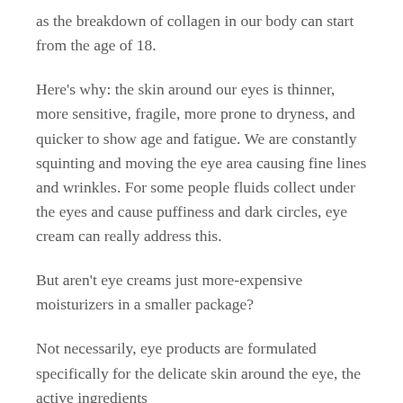as the breakdown of collagen in our body can start from the age of 18.
Here's why: the skin around our eyes is thinner, more sensitive, fragile, more prone to dryness, and quicker to show age and fatigue. We are constantly squinting and moving the eye area causing fine lines and wrinkles. For some people fluids collect under the eyes and cause puffiness and dark circles, eye cream can really address this.
But aren't eye creams just more-expensive moisturizers in a smaller package?
Not necessarily, eye products are formulated specifically for the delicate skin around the eye, the active ingredients